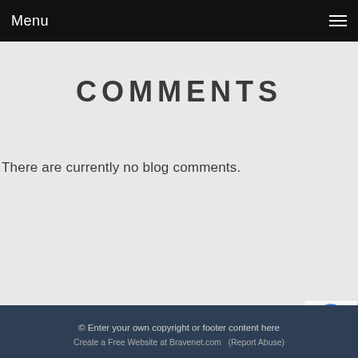Menu
COMMENTS
There are currently no blog comments.
© Enter your own copyright or footer content here
Create a Free Website at Bravenet.com   (Report Abuse)